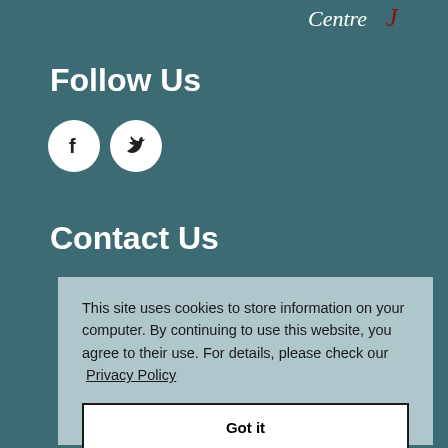[Figure (logo): Centre J logo text in white/dark with red accent mark, partially visible at top right]
Follow Us
[Figure (illustration): Two white circular social media icons: Facebook (f) and Twitter (bird)]
Contact Us
This site uses cookies to store information on your computer. By continuing to use this website, you agree to their use. For details, please check our Privacy Policy
Got it